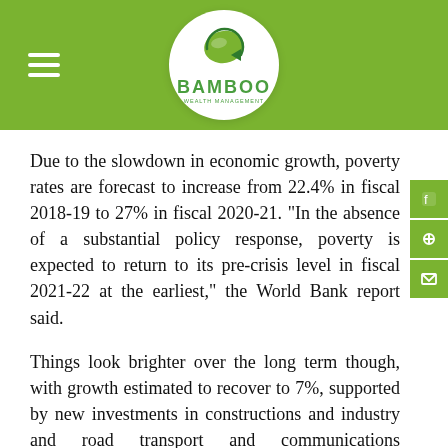BAMBOO
Due to the slowdown in economic growth, poverty rates are forecast to increase from 22.4% in fiscal 2018-19 to 27% in fiscal 2020-21. “In the absence of a substantial policy response, poverty is expected to return to its pre-crisis level in fiscal 2021-22 at the earliest,” the World Bank report said.
Things look brighter over the long term though, with growth estimated to recover to 7%, supported by new investments in constructions and industry and road transport and communications infrastructure, better access to power supply and the increased use of digital technology, which could boost productivity